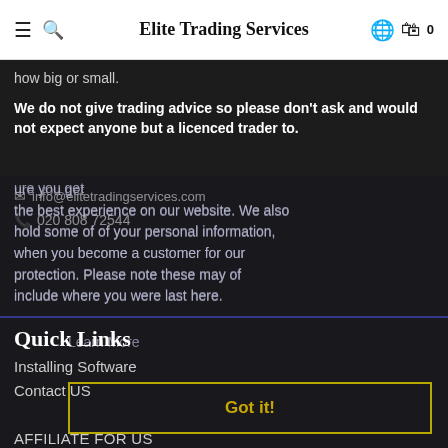Elite Trading Services
how big or small.
We do not give trading advice so please don't ask and would not expect anyone but a licenced trader to.
info@elitetradingservices.com
020 808 72544
...ensure you get the best experience on our website. We also hold some of of your personal information, when you become a customer for our protection. Please note these may of include where you were last here.
Learn More
Quick Links
Installing Software
Contact US
AFFILIATE FOR US
Partner Broker